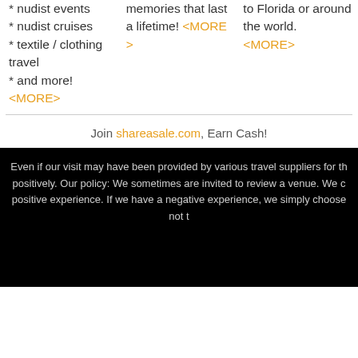* nudist events
* nudist cruises
* textile / clothing travel
* and more!
<MORE>
memories that last a lifetime! <MORE>
to Florida or around the world. <MORE>
Join shareasale.com, Earn Cash!
Even if our visit may have been provided by various travel suppliers for th... positively. Our policy: We sometimes are invited to review a venue. We c... positive experience. If we have a negative experience, we simply choose not t...